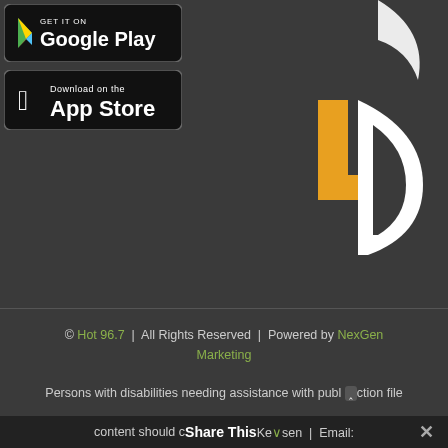[Figure (logo): Google Play store download button with play triangle icon]
[Figure (logo): Apple App Store download button with Apple logo]
[Figure (logo): Partial logo showing orange L shape and white D shape on dark background]
© Hot 96.7  |  All Rights Reserved  |  Powered by NexGen Marketing
Persons with disabilities needing assistance with public inspection file content should c...Keansen | Email:
Share This